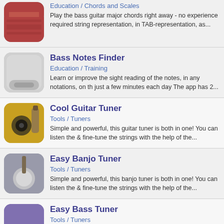Education / Chords and Scales
Play the bass guitar major chords right away - no experience required string representation, in TAB-representation, as...
Bass Notes Finder
Education / Training
Learn or improve the sight reading of the notes, in any notations, on th just a few minutes each day The app has 2...
Cool Guitar Tuner
Tools / Tuners
Simple and powerful, this guitar tuner is both in one! You can listen the & fine-tune the strings with the help of the...
Easy Banjo Tuner
Tools / Tuners
Simple and powerful, this banjo tuner is both in one! You can listen the & fine-tune the strings with the help of the...
Easy Bass Tuner
Tools / Tuners
Simple and powerful, this bass guitar tuner is both in one! You can liste check & fine-tune the strings with the help of...
Easy Cello Tuner